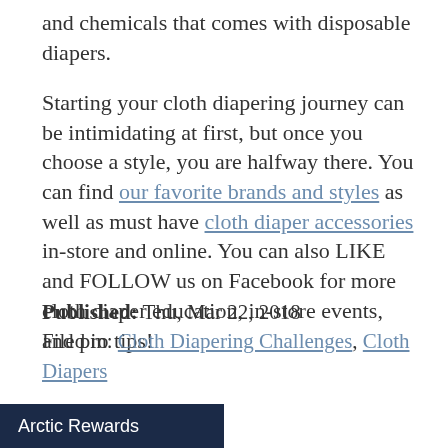and chemicals that comes with disposable diapers.
Starting your cloth diapering journey can be intimidating at first, but once you choose a style, you are halfway there. You can find our favorite brands and styles as well as must have cloth diaper accessories in-store and online. You can also LIKE and FOLLOW us on Facebook for more cloth diaper education, in-store events, and pro tips!
Published: Thu, Mar 22, 2018
Filed in: Cloth Diapering Challenges, Cloth Diapers
Arctic Rewards